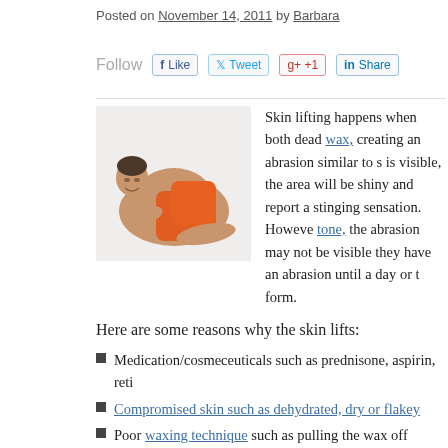Posted on November 14, 2011 by Barbara
[Figure (photo): Man posing with orange pillow, shirtless, on white background]
Skin lifting happens when both dead wax, creating an abrasion similar to s is visible, the area will be shiny and report a stinging sensation. However tone, the abrasion may not be visible they have an abrasion until a day or t form.
Here are some reasons why the skin lifts:
Medication/cosmeceuticals such as prednisone, aspirin, reti
Compromised skin such as dehydrated, dry or flakey
Poor waxing technique such as pulling the wax off without s
Over heated wax or too cold wax